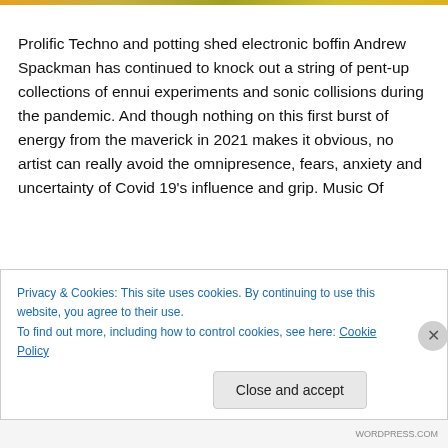[Figure (photo): Colorful image strip at top of page, partially visible]
Prolific Techno and potting shed electronic boffin Andrew Spackman has continued to knock out a string of pent-up collections of ennui experiments and sonic collisions during the pandemic. And though nothing on this first burst of energy from the maverick in 2021 makes it obvious, no artist can really avoid the omnipresence, fears, anxiety and uncertainty of Covid 19's influence and grip. Music Of
Privacy & Cookies: This site uses cookies. By continuing to use this website, you agree to their use.
To find out more, including how to control cookies, see here: Cookie Policy
Close and accept